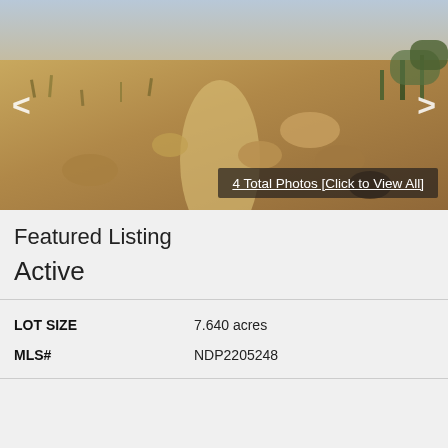[Figure (photo): Outdoor landscape photo of dry brush-covered rocky hillside terrain with sparse vegetation and rocks, navigation arrows on left and right sides, semi-transparent dark overlay bar at bottom right with photo count label]
4 Total Photos [Click to View All]
Featured Listing
Active
LOT SIZE	7.640 acres
MLS#	NDP2205248